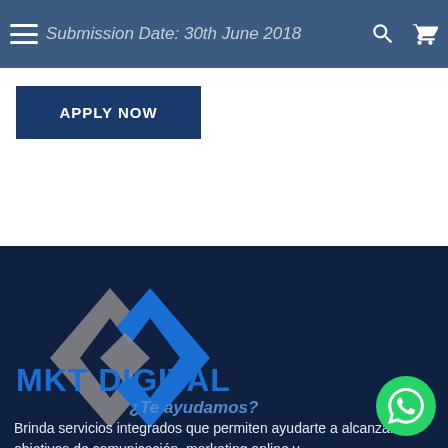Graphic Design — Submission Date: 30th June 2018
APPLY NOW
[Figure (logo): MKT Digital logo: a diamond-shaped interlocking S symbol in blue and grey, with the text MKT DIGITAL in bold blue below]
¿Te ayudamos?
Brinda servicios integrados que permiten ayudarte a alcanzar tus objetivos de comunicación, marketing online y